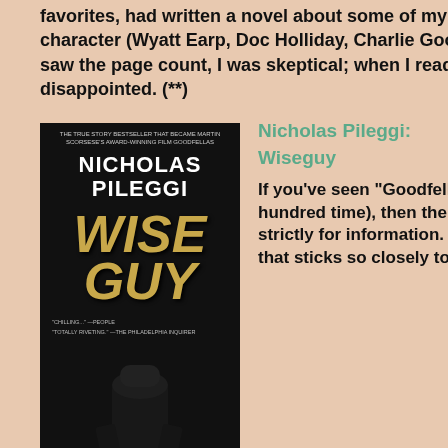favorites, had written a novel about some of my favorite old west character (Wyatt Earp, Doc Holliday, Charlie Goodnight, etc.). When I saw the page count, I was skeptical; when I read the last sentence, I was disappointed. (**)
[Figure (photo): Book cover of 'Wiseguy' by Nicholas Pileggi, showing a dark cover with the author name in white, title in large gold italic letters, and a silhouette figure. Subtitle: Life in a Mafia Family.]
Nicholas Pileggi: Wiseguy
If you've seen "Goodfellas," (and I have, about a hundred time), then there's no need to read this book strictly for information. I have rarely seen a movie that sticks so closely to the book from which it was made. The great dialog in "Goodfellas" was, for the most part, taken straight from the mouths of the real-life characters it depicts. As with the movie, WISEGUY begins in 1955 when Henry Hill becomes, at 11 years old,